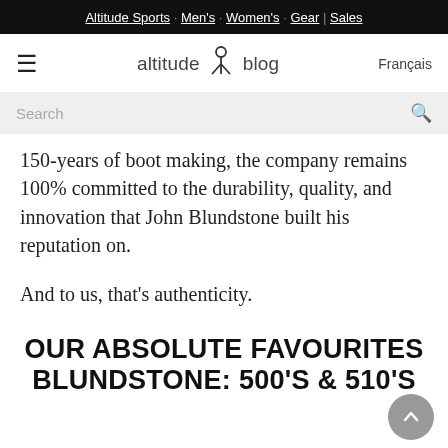Altitude Sports · Men's · Women's · Gear | Sales
[Figure (logo): Altitude blog logo with hamburger menu and Français link]
Search
150-years of boot making, the company remains 100% committed to the durability, quality, and innovation that John Blundstone built his reputation on.
And to us, that's authenticity.
OUR ABSOLUTE FAVOURITES BLUNDSTONE: 500'S & 510'S